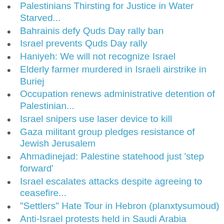Palestinians Thirsting for Justice in Water Starved...
Bahrainis defy Quds Day rally ban
Israel prevents Quds Day rally
Haniyeh: We will not recognize Israel
Elderly farmer murdered in Israeli airstrike in Buriej
Occupation renews administrative detention of Palestinian...
Israel snipers use laser device to kill
Gaza militant group pledges resistance of Jewish Jerusalem
Ahmadinejad: Palestine statehood just 'step forward'
Israel escalates attacks despite agreeing to ceasefire...
"Settlers" Hate Tour in Hebron (planxtysumoud)
Anti-Israel protests held in Saudi Arabia
Israeli troops fire tear gas at protest in Qalandiya